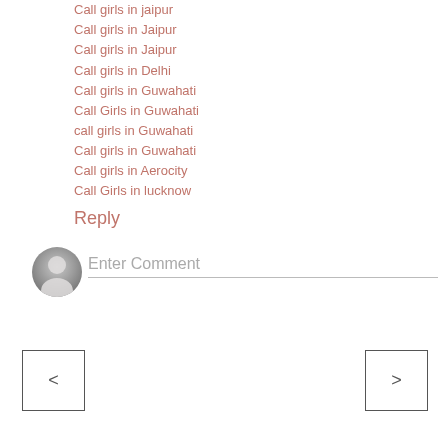Call girls in jaipur
Call girls in Jaipur
Call girls in Jaipur
Call girls in Delhi
Call girls in Guwahati
Call Girls in Guwahati
call girls in Guwahati
Call girls in Guwahati
Call girls in Aerocity
Call Girls in lucknow
Reply
[Figure (other): User avatar placeholder icon — a grey circular avatar with a generic person silhouette]
Enter Comment
<
>